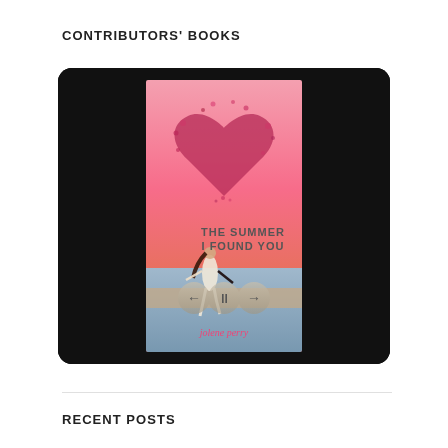CONTRIBUTORS' BOOKS
[Figure (photo): Book cover of 'The Summer I Found You' by Jolene Perry displayed on a tablet/e-reader with a dark frame. The cover shows a girl on a beach with a pink sunset sky and a large heart shape made of birds/petals above her. Three media control buttons (back, pause, forward) are visible overlaid on the cover.]
RECENT POSTS